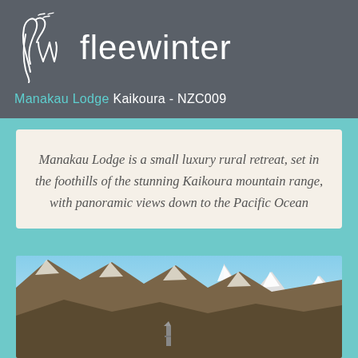[Figure (logo): Fleewinter logo with cursive 'fw' monogram in teal/white and large white text 'fleewinter']
Manakau Lodge Kaikoura - NZC009
Manakau Lodge is a small luxury rural retreat, set in the foothills of the stunning Kaikoura mountain range, with panoramic views down to the Pacific Ocean
[Figure (photo): Panoramic photo of snow-capped Kaikoura mountain range with clear blue sky and a lighthouse or tower visible in the foreground]